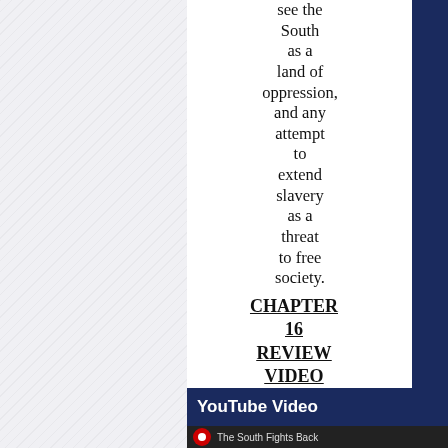see the South as a land of oppression, and any attempt to extend slavery as a threat to free society.
CHAPTER 16 REVIEW VIDEO
YouTube Video
[Figure (screenshot): YouTube video thumbnail showing 'The South Fights Back' with a red hat icon on a dark background]